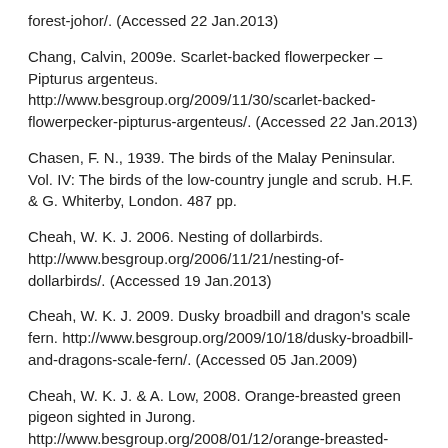forest-johor/. (Accessed 22 Jan.2013)
Chang, Calvin, 2009e. Scarlet-backed flowerpecker – Pipturus argenteus. http://www.besgroup.org/2009/11/30/scarlet-backed-flowerpecker-pipturus-argenteus/. (Accessed 22 Jan.2013)
Chasen, F. N., 1939. The birds of the Malay Peninsular. Vol. IV: The birds of the low-country jungle and scrub. H.F. & G. Whiterby, London. 487 pp.
Cheah, W. K. J. 2006. Nesting of dollarbirds. http://www.besgroup.org/2006/11/21/nesting-of-dollarbirds/. (Accessed 19 Jan.2013)
Cheah, W. K. J. 2009. Dusky broadbill and dragon's scale fern. http://www.besgroup.org/2009/10/18/dusky-broadbill-and-dragons-scale-fern/. (Accessed 05 Jan.2009)
Cheah, W. K. J. & A. Low, 2008. Orange-breasted green pigeon sighted in Jurong. http://www.besgroup.org/2008/01/12/orange-breasted-green-pigeon-sighted-in-jurong/. (Accessed 22 Jan.2013)
Cheah, W. K. J. & Y. C. Wee, 2007. Oriental pied hornbill-